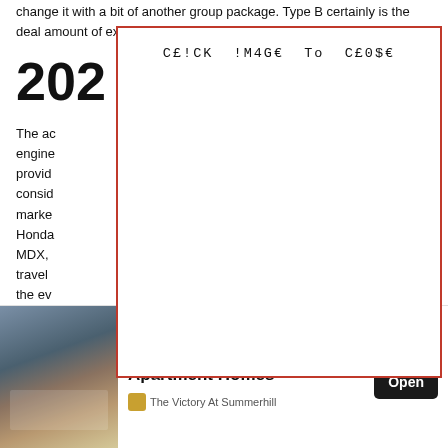change it with a bit of another group package. Type B certainly is the deal amount of expecting.
202
[Figure (screenshot): Popup overlay with monospace text reading 'CE!CK !M4GE To CE0$E' on white background with red border]
The ac...ter V6 engine...ht can provid...ionals consid...in this marke...f your Honda...emium MDX,...ce-tire travel...ase in the ev...ourney ...name,
[Figure (photo): Advertisement banner for Luxury Atlanta Apartment Homes - The Victory At Summerhill, showing a modern house photo with an Open button]